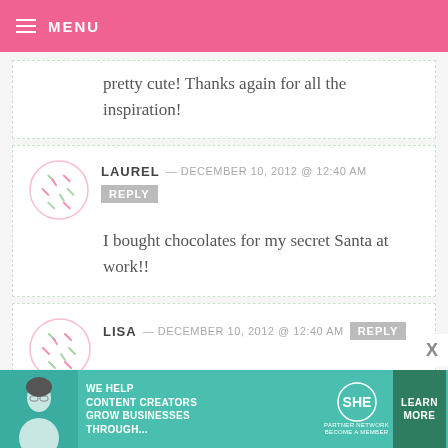MENU
pretty cute! Thanks again for all the inspiration!
LAUREL — DECEMBER 10, 2012 @ 12:40 AM  REPLY
I bought chocolates for my secret Santa at work!!
LISA — DECEMBER 10, 2012 @ 12:40 AM  REPLY
[Figure (infographic): SHE Partner Network advertisement banner with teal background, woman photo, text 'WE HELP CONTENT CREATORS GROW BUSINESSES THROUGH...' and Learn More button]